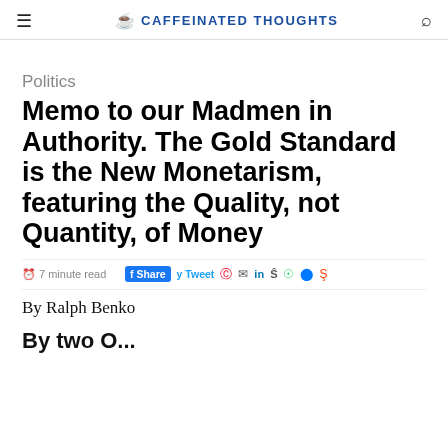CAFFEINATED THOUGHTS
Politics
Memo to our Madmen in Authority. The Gold Standard is the New Monetarism, featuring the Quality, not Quantity, of Money
7 minute read  Share  Tweet
By Ralph Benko
By two O...